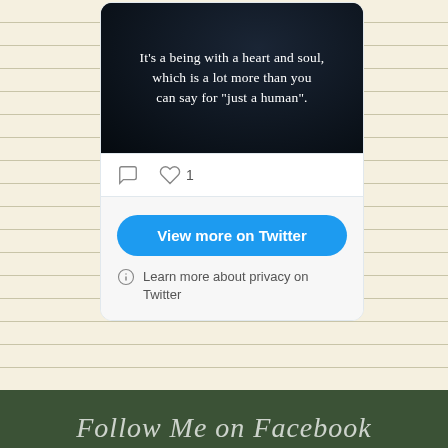[Figure (screenshot): Twitter embed card showing a dark image with white text quote: "It's a being with a heart and soul, which is a lot more than you can say for 'just a human'." Below the image are comment and heart icons (1 like), followed by a 'View more on Twitter' blue button and a privacy notice.]
View more on Twitter
Learn more about privacy on Twitter
Follow Me on Facebook